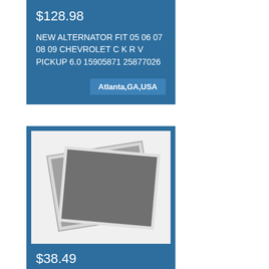$128.98
NEW ALTERNATOR FIT 05 06 07 08 09 CHEVROLET C K R V PICKUP 6.0 15905871 25877026
Atlanta,GA,USA
[Figure (photo): Placeholder image showing two overlapping photo-style rectangles in gray tones]
$38.49
Hood Latch Model VIN C/K 5th Digit Fits 88 89 90 91 92 93 94 Chevy 3500 Pickup